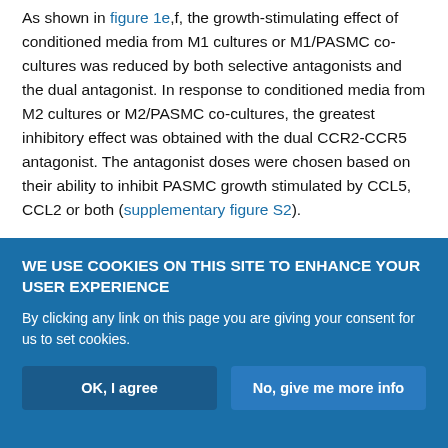As shown in figure 1e,f, the growth-stimulating effect of conditioned media from M1 cultures or M1/PASMC co-cultures was reduced by both selective antagonists and the dual antagonist. In response to conditioned media from M2 cultures or M2/PASMC co-cultures, the greatest inhibitory effect was obtained with the dual CCR2-CCR5 antagonist. The antagonist doses were chosen based on their ability to inhibit PASMC growth stimulated by CCL5, CCL2 or both (supplementary figure S2).
To further assess the respective roles played by CCR2 and CCR5 on macrophage/PASMC crosstalk, we co-cultured M2 with PASMCs from either CCR2-knockout (ko) or CCR5-ko mice. The conditioned
WE USE COOKIES ON THIS SITE TO ENHANCE YOUR USER EXPERIENCE
By clicking any link on this page you are giving your consent for us to set cookies.